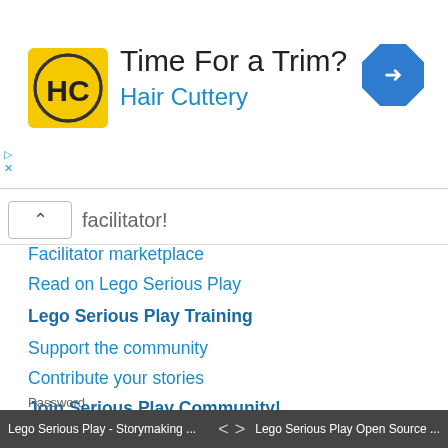[Figure (screenshot): Ad banner for Hair Cuttery: yellow logo with HC text, title 'Time For a Trim?', subtitle 'Hair Cuttery' in blue, blue diamond direction arrow icon on right]
facilitator!
Facilitator marketplace
Read on Lego Serious Play
Lego Serious Play Training
Support the community
Contribute your stories
Join Serious Play Community!
My profile
Username
Lego Serious Play - Storymaking ...   < >   Lego Serious Play Open Source ...